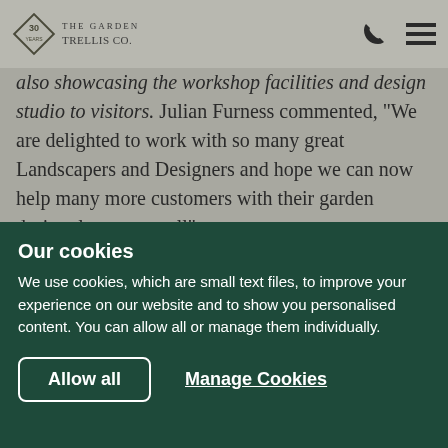The Garden Trellis Co. — 30 Years
also showcasing the workshop facilities and design studio to visitors. Julian Furness commented, "We are delighted to work with so many great Landscapers and Designers and hope we can now help many more customers with their garden design, large or small".
< Back to article list
Our cookies
We use cookies, which are small text files, to improve your experience on our website and to show you personalised content. You can allow all or manage them individually.
Allow all
Manage Cookies